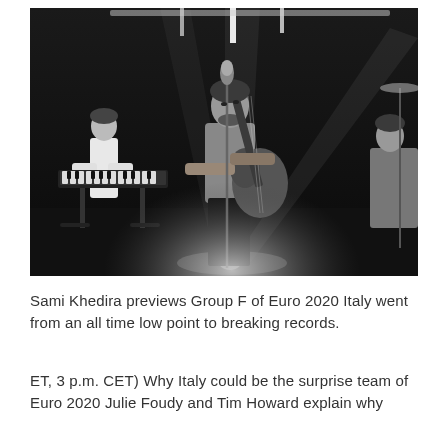[Figure (photo): Black and white concert photograph showing a musician singing into a microphone and playing guitar on stage under dramatic spotlight beams, with another musician at a keyboard in the background and a drum kit partially visible on the right.]
Sami Khedira previews Group F of Euro 2020 Italy went from an all time low point to breaking records.
ET, 3 p.m. CET) Why Italy could be the surprise team of Euro 2020 Julie Foudy and Tim Howard explain why